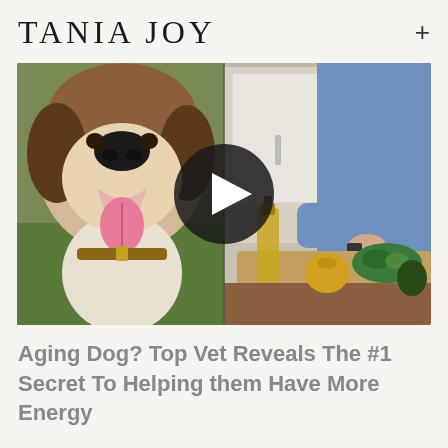TANIA JOY
[Figure (photo): Split image: left side shows a beagle dog with tongue out wearing a brown collar, outdoors on grass; right side shows a person in a blue shirt preparing food at a kitchen counter with vegetables and olive oil. A dark circular play button overlay is centered on the image.]
Aging Dog? Top Vet Reveals The #1 Secret To Helping them Have More Energy